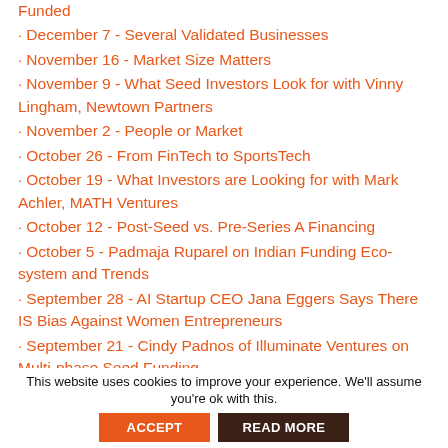Funded
December 7 - Several Validated Businesses
November 16 - Market Size Matters
November 9 - What Seed Investors Look for with Vinny Lingham, Newtown Partners
November 2 - People or Market
October 26 - From FinTech to SportsTech
October 19 - What Investors are Looking for with Mark Achler, MATH Ventures
October 12 - Post-Seed vs. Pre-Series A Financing
October 5 - Padmaja Ruparel on Indian Funding Eco-system and Trends
September 28 - AI Startup CEO Jana Eggers Says There IS Bias Against Women Entrepreneurs
September 21 - Cindy Padnos of Illuminate Ventures on Multi-phase Seed Funding
September 14 - Bootstrapping to $80 Million with Rob Purdy, Founder of Power2Motivate
September 7 - Multiple Seed Rounds May Be Needed to
This website uses cookies to improve your experience. We'll assume you're ok with this.